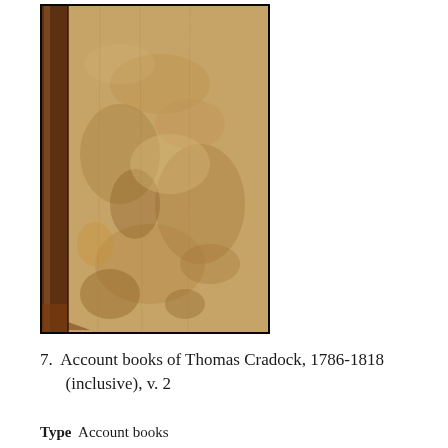[Figure (photo): Photograph of the cover/spine of an old account book with aged, mottled brownish-tan leather binding and dark brown spine edges.]
7.  Account books of Thomas Cradock, 1786-1818 (inclusive), v. 2
Type  Account books